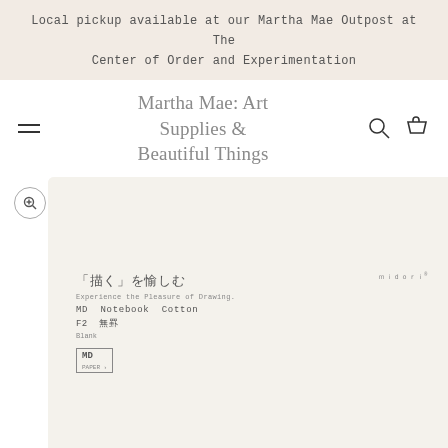Local pickup available at our Martha Mae Outpost at The Center of Order and Experimentation
Martha Mae: Art Supplies & Beautiful Things
[Figure (photo): Product photo of MD Notebook Cotton F2 blank by Midori/MD Paper. Cream/off-white cover with Japanese text reading 「描く」を愉しむ (Experience the Pleasure of Drawing), product details in courier-style text, and MD Paper logo box. Diagonal lines visible in bottom right corner of the notebook.]